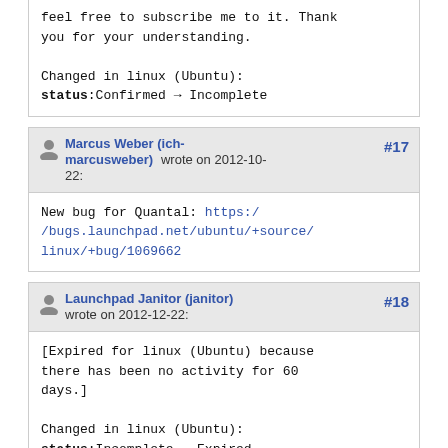feel free to subscribe me to it. Thank you for your understanding.

Changed in linux (Ubuntu):
status:Confirmed → Incomplete
Marcus Weber (ich-marcusweber) wrote on 2012-10-22: #17
New bug for Quantal: https://bugs.launchpad.net/ubuntu/+source/linux/+bug/1069662
Launchpad Janitor (janitor) wrote on 2012-12-22: #18
[Expired for linux (Ubuntu) because there has been no activity for 60 days.]

Changed in linux (Ubuntu):
status:Incomplete → Expired